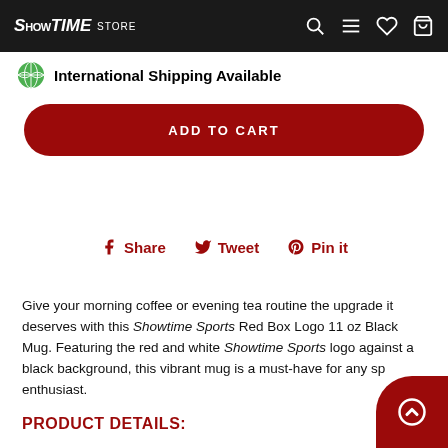SHOWTIME STORE
International Shipping Available
ADD TO CART
Share  Tweet  Pin it
Give your morning coffee or evening tea routine the upgrade it deserves with this Showtime Sports Red Box Logo 11 oz Black Mug. Featuring the red and white Showtime Sports logo against a black background, this vibrant mug is a must-have for any sports enthusiast.
PRODUCT DETAILS: